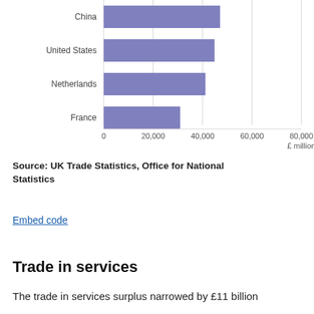[Figure (bar-chart): ]
Source: UK Trade Statistics, Office for National Statistics
Embed code
Trade in services
The trade in services surplus narrowed by £11 billion